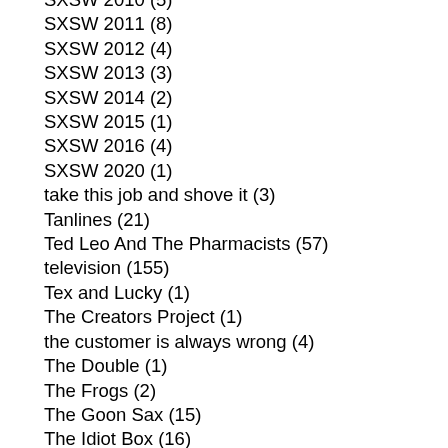SXSW 2010 (5)
SXSW 2011 (8)
SXSW 2012 (4)
SXSW 2013 (3)
SXSW 2014 (2)
SXSW 2015 (1)
SXSW 2016 (4)
SXSW 2020 (1)
take this job and shove it (3)
Tanlines (21)
Ted Leo And The Pharmacists (57)
television (155)
Tex and Lucky (1)
The Creators Project (1)
the customer is always wrong (4)
The Double (1)
The Frogs (2)
The Goon Sax (15)
The Idiot Box (16)
The Men (2)
The New Pornographers (129)
the people's court (8)
The Ponys (23)